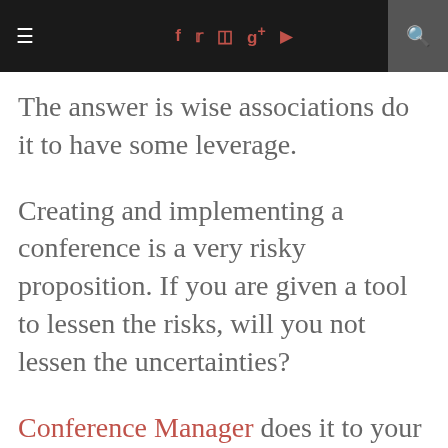≡  f  t  [instagram]  g+  [youtube]  [search]
The answer is wise associations do it to have some leverage.
Creating and implementing a conference is a very risky proposition. If you are given a tool to lessen the risks, will you not lessen the uncertainties?
Conference Manager does it to your conference.